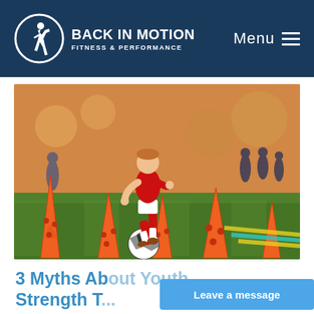BACK IN MOTION FITNESS & PERFORMANCE | Menu
[Figure (photo): Young soccer player in red uniform dribbling a ball through orange training cones on a green grass field, with other players in background]
3 Myths About Youth Strength T...
Leave a message